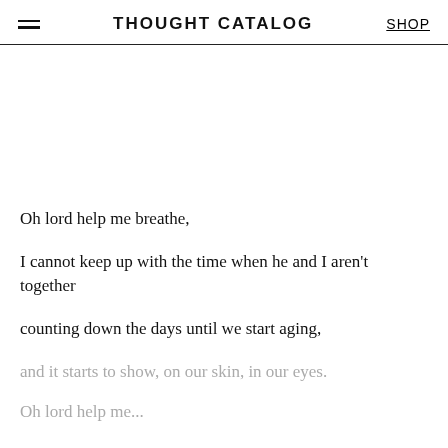THOUGHT CATALOG | SHOP
Oh lord help me breathe,
I cannot keep up with the time when he and I aren't together
counting down the days until we start aging,
and it starts to show, on our skin, in our eyes.
Oh lord help me...